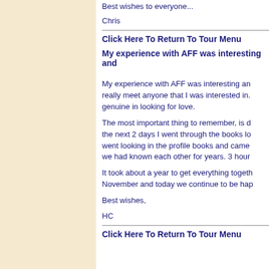Best wishes to everyone...
Chris
Click Here To Return To Tour Menu
My experience with AFF was interesting and
My experience with AFF was interesting an... really meet anyone that I was interested in. genuine in looking for love.
The most important thing to remember, is d... the next 2 days I went through the books lo... went looking in the profile books and came... we had known each other for years. 3 hour
It took about a year to get everything togeth... November and today we continue to be hap
Best wishes,
HC
Click Here To Return To Tour Menu